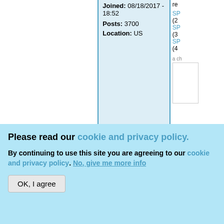Joined: 08/18/2017 - 18:52
Posts: 3700
Location: US
re
SP (2) SP (3) SP (4)
Please read our cookie and privacy policy.
By continuing to use this site you are agreeing to our cookie and privacy policy. No, give me more info
OK, I agree